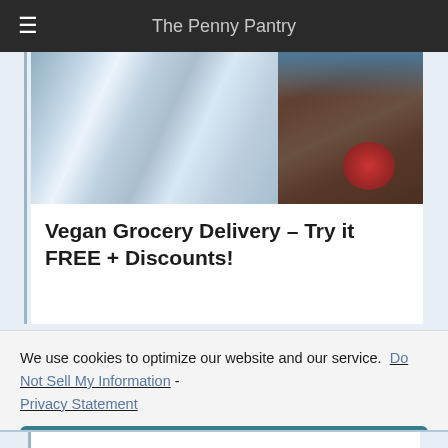The Penny Pantry
[Figure (photo): Photo of a foil-wrapped package and a cardboard box with a red circle, partially cropped]
Vegan Grocery Delivery – Try it FREE + Discounts!
We use cookies to optimize our website and our service.  Do Not Sell My Information  -  Privacy Statement
Accept